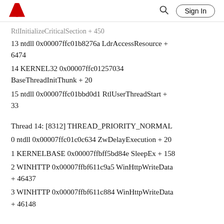Adobe | Sign In
RtlInitializeCriticalSection + 450
13 ntdll 0x00007ffc01b8276a LdrAccessResource + 6474
14 KERNEL32 0x00007ffc01257034 BaseThreadInitThunk + 20
15 ntdll 0x00007ffc01bbd0d1 RtlUserThreadStart + 33
Thread 14: [8312] THREAD_PRIORITY_NORMAL
0 ntdll 0x00007ffc01c0c634 ZwDelayExecution + 20
1 KERNELBASE 0x00007ffbff5bd84e SleepEx + 158
2 WINHTTP 0x00007ffbf611c9a5 WinHttpWriteData + 46437
3 WINHTTP 0x00007ffbf611c884 WinHttpWriteData + 46148